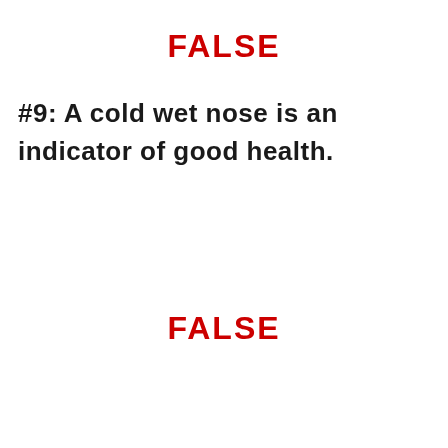FALSE
#9:  A cold wet nose is an indicator of good health.
FALSE